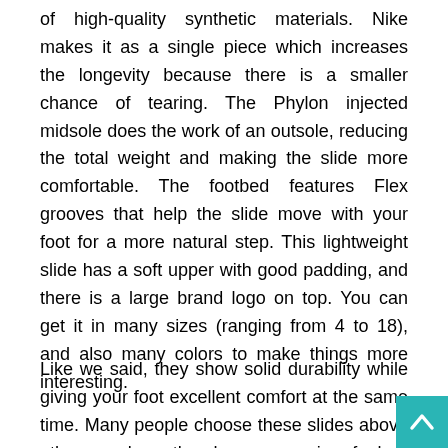of high-quality synthetic materials. Nike makes it as a single piece which increases the longevity because there is a smaller chance of tearing. The Phylon injected midsole does the work of an outsole, reducing the total weight and making the slide more comfortable. The footbed features Flex grooves that help the slide move with your foot for a more natural step. This lightweight slide has a soft upper with good padding, and there is a large brand logo on top. You can get it in many sizes (ranging from 4 to 18), and also many colors to make things more interesting.
Like we said, they show solid durability while giving your foot excellent comfort at the same time. Many people choose these slides above others, and say they have a premium feel on their feet. As for size, they run a bit small. For this reason, it's recommended to go with a larger size if you are not sure. Also till...